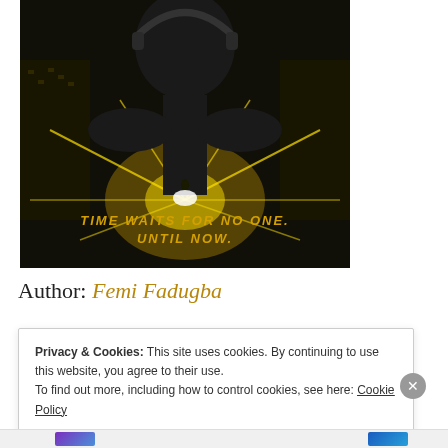[Figure (illustration): Movie poster with a dark silhouette figure looking upward, golden/yellow lightning energy radiating outward, cityscape in background, text reading 'TIME WAITS FOR NO ONE. UNTIL NOW.' in yellow letters]
Author: Femi Fadugba
Privacy & Cookies: This site uses cookies. By continuing to use this website, you agree to their use. To find out more, including how to control cookies, see here: Cookie Policy
Close and accept